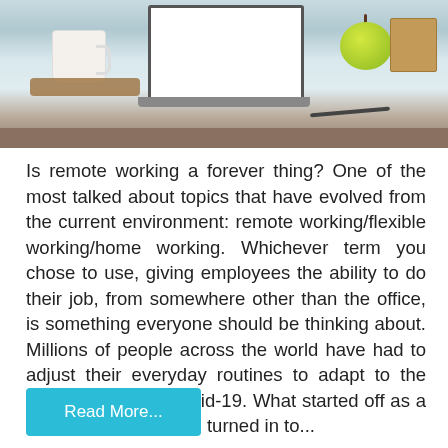[Figure (photo): Photo of a home office setup showing a laptop with white screen, a white mug on a wooden tray, a green apple, a wooden box, and a pen on a white desk surface. A brown/tan divider bar appears at the bottom of the image.]
Is remote working a forever thing? One of the most talked about topics that have evolved from the current environment: remote working/flexible working/home working. Whichever term you chose to use, giving employees the ability to do their job, from somewhere other than the office, is something everyone should be thinking about. Millions of people across the world have had to adjust their everyday routines to adapt to the pandemic that is Covid-19. What started off as a novelty for some, has turned in to...
Read More...